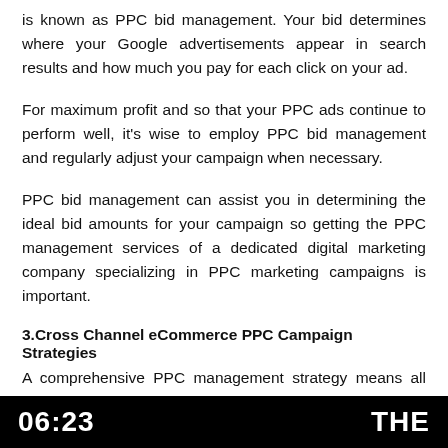is known as PPC bid management. Your bid determines where your Google advertisements appear in search results and how much you pay for each click on your ad.
For maximum profit and so that your PPC ads continue to perform well, it's wise to employ PPC bid management and regularly adjust your campaign when necessary.
PPC bid management can assist you in determining the ideal bid amounts for your campaign so getting the PPC management services of a dedicated digital marketing company specializing in PPC marketing campaigns is important.
3.Cross Channel eCommerce PPC Campaign Strategies
A comprehensive PPC management strategy means all your
06:23   THE